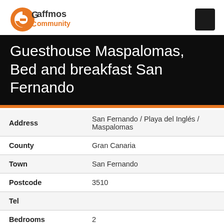Gaffmos Community
Guesthouse Maspalomas, Bed and breakfast San Fernando
| Field | Value |
| --- | --- |
| Address | San Fernando / Playa del Inglés / Maspalomas |
| County | Gran Canaria |
| Town | San Fernando |
| Postcode | 3510 |
| Tel |  |
| Bedrooms | 2 |